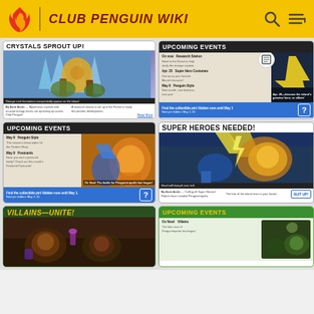CLUB PENGUIN WIKI
CRYSTALS SPROUT UP!
Strange rock formations unexpectedly appear on the island.
By Aunt Arctic — Mysterious crystals with unusual energy forces are sprouting up across Club Penguin! A research station is set up in the Forest to study the peculiar development. Read More
UPCOMING EVENTS
On now  Research Station
Head to the Forest to help study the strange crystals.
Apr. 25  Super Hero Costumes
Suit up as your favorite Marvel character!
May 9  Penguin Style
New month, new fashions, new you!
Apr. 25—become the island's greatest hero, or villain!
Find the collectible pin! Hidden now until May 1
Next pin hidden: May 2–15
UPCOMING EVENTS
May 9  Penguin Style
This season's latest styles hit the Clothes Shop.
May 9  Postcards
Have you sent a postcard lately? Check out this month's Featured Postcards!
On Now! The battle for Penguintropolis has begun!
Find the collectible pin! Hidden now until May 1
Next pin hidden: May 2–15
SUPER HEROES NEEDED!
Good will triumph over evil.
By Aunt Arctic — Calling all Super Heroes! Robots have invaded Penguintropolis. The fate of the island rests in your hands. SUIT UP!
VILLAINS—UNITE!
UPCOMING EVENTS
On Now!  Villains
The take over of Penguintropolis has begun!